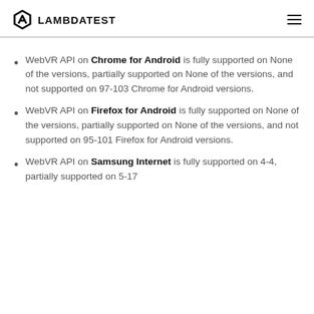LAMBDATEST
WebVR API on Chrome for Android is fully supported on None of the versions, partially supported on None of the versions, and not supported on 97-103 Chrome for Android versions.
WebVR API on Firefox for Android is fully supported on None of the versions, partially supported on None of the versions, and not supported on 95-101 Firefox for Android versions.
WebVR API on Samsung Internet is fully supported on 4-4, partially supported on 5-17